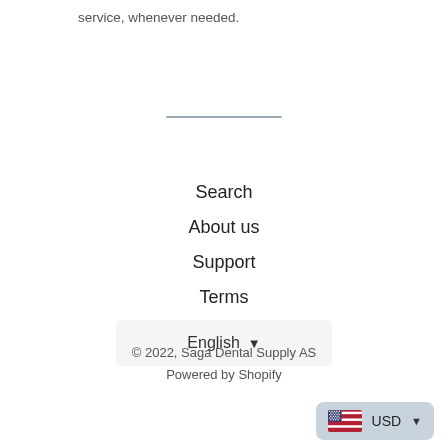service, whenever needed.
Search
About us
Support
Terms
English ▾
© 2022, Saga Dental Supply AS
Powered by Shopify
🇺🇸 USD ▾